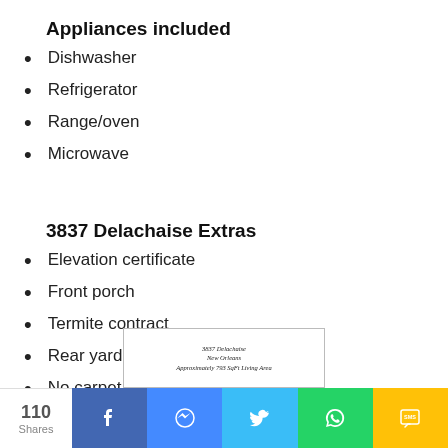Appliances included
Dishwasher
Refrigerator
Range/oven
Microwave
3837 Delachaise Extras
Elevation certificate
Front porch
Termite contract
Rear yard vehicle access
No carpet
[Figure (other): 3837 Delachaise, New Orleans. Approximately 793 SqFt Living Area — document thumbnail with border]
110 Shares  [Facebook] [Messenger] [Twitter] [WhatsApp] [SMS]